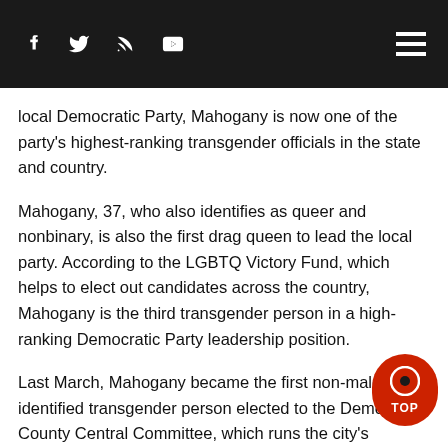[Social media icons: Facebook, Twitter, RSS, YouTube] [Hamburger menu]
local Democratic Party, Mahogany is now one of the party's highest-ranking transgender officials in the state and country.
Mahogany, 37, who also identifies as queer and nonbinary, is also the first drag queen to lead the local party. According to the LGBTQ Victory Fund, which helps to elect out candidates across the country, Mahogany is the third transgender person in a high-ranking Democratic Party leadership position.
Last March, Mahogany became the first non-male identified transgender person elected to the Democratic County Central Committee, which runs the city's Democratic Party. Its members decide who becomes party chair and elected Mahogany to the leadership role on a